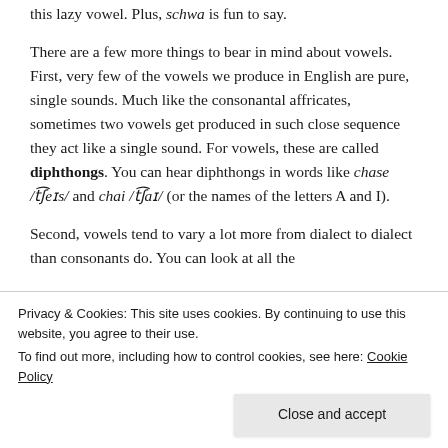this lazy vowel. Plus, schwa is fun to say.
There are a few more things to bear in mind about vowels. First, very few of the vowels we produce in English are pure, single sounds. Much like the consonantal affricates, sometimes two vowels get produced in such close sequence they act like a single sound. For vowels, these are called diphthongs. You can hear diphthongs in words like chase /tʃeɪs/ and chai /tʃaɪ/ (or the names of the letters A and I).
Second, vowels tend to vary a lot more from dialect to dialect than consonants do. You can look at all the
Privacy & Cookies: This site uses cookies. By continuing to use this website, you agree to their use.
To find out more, including how to control cookies, see here: Cookie Policy
Close and accept